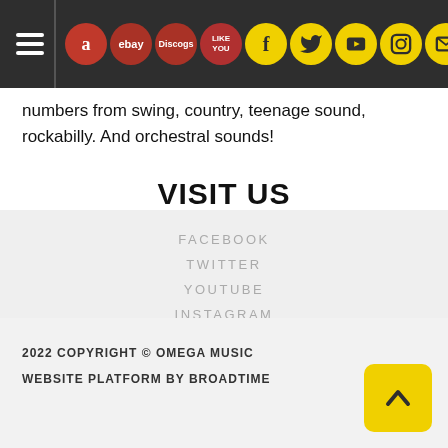Navigation bar with hamburger menu and social/marketplace icons: Amazon, eBay, Discogs, (logo), Facebook, Twitter, YouTube, Instagram, Email
numbers from swing, country, teenage sound, rockabilly. And orchestral sounds!
VISIT US
FACEBOOK
TWITTER
YOUTUBE
INSTAGRAM
EMAIL
2022 COPYRIGHT © OMEGA MUSIC
WEBSITE PLATFORM BY BROADTIME